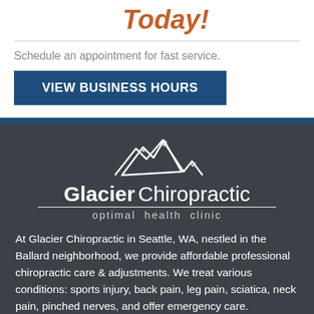Today!
Schedule an appointment for fast service.
VIEW BUSINESS HOURS
[Figure (logo): Glacier Chiropractic optimal health clinic logo with mountain peaks illustration in white on dark gray background]
At Glacier Chiropractic in Seattle, WA, nestled in the Ballard neighborhood, we provide affordable professional chiropractic care & adjustments. We treat various conditions: sports injury, back pain, leg pain, sciatica, neck pain, pinched nerves, and offer emergency care.